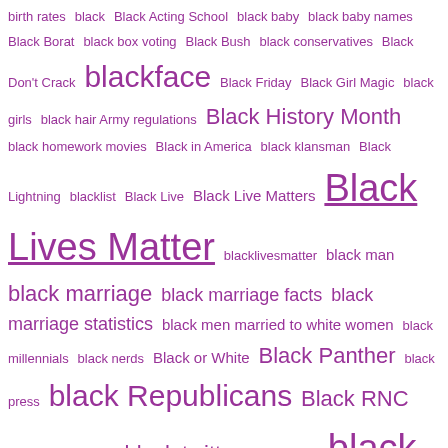birth rates black Black Acting School black baby black baby names Black Borat black box voting Black Bush black conservatives Black Don't Crack blackface Black Friday Black Girl Magic black girls black hair Army regulations Black History Month black homework movies Black in America black klansman Black Lightning blacklist Black Live Black Live Matters Black Lives Matter blacklivesmatter black man black marriage black marriage facts black marriage statistics black men married to white women black millennials black nerds Black or White Black Panther black press black Republicans Black RNC blacks in Germany black twitter black voters black voter turnout black women Blanche Lincoln blerds Blitz PAC BLM Blog Talk Radio Bloody Sunday Bloomberg blue wave Bobby Jindal Bobby Rush Bob Corker Bob Ehrlich Bob Filner Bob Jones University Bob McCulloch Bob McDonnell Bob Menendez Bob Walker body armor bomb Bond villain booed book Booker T. Washington bookstores Borat Borders border wall Boris Epshteyn Boris Kodjoe Borrower Defense to Repayment Boston bombing Boston Bruins Boston Globe Boston Marathon Boston Phoenix Boston University Bowe Bergdahl boxing boycott Boy Scouts Boy Scouts of America